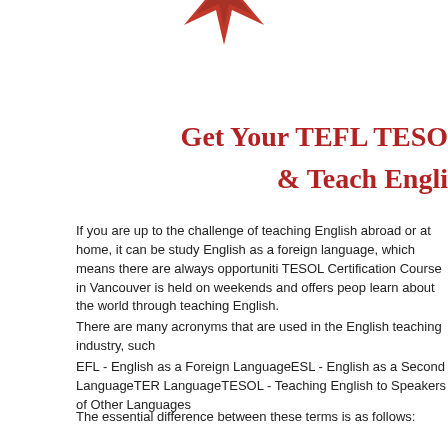[Figure (logo): Red star/sunburst logo at the top center of the page, partially visible]
Get Your TEFL TESO & Teach Engli
If you are up to the challenge of teaching English abroad or at home, it can be study English as a foreign language, which means there are always opportuniti TESOL Certification Course in Vancouver is held on weekends and offers peop learn about the world through teaching English.
There are many acronyms that are used in the English teaching industry, such
EFL - English as a Foreign LanguageESL - English as a Second LanguageTER LanguageTESOL - Teaching English to Speakers of Other Languages
The essential difference between these terms is as follows:
TESL (Teaching English as a Second Language) is a term that is used to descr